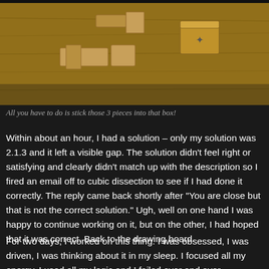[Figure (photo): Wooden puzzle pieces and a box on a hardwood floor. Three interlocking wooden block pieces are shown alongside a small wooden box.]
All you have to do is stick those 3 pieces into that box!
Within about an hour, I had a solution – only my solution was 2.1.3 and it left a visible gap. The solution didn't feel right or satisfying and clearly didn't match up with the description so I fired an email off to cubic dissection to see if I had done it correctly. The reply came back shortly after "You are close but that is not the correct solution." Ugh, well on one hand I was happy to continue working on it, but on the other, I had hoped that it was correct. Back to the drawing board.
For two days, I worked on this thing. I was obsessed, I was driven, I was thinking about it in my sleep. I focused all my energy, I used all my logic and I failed over and over